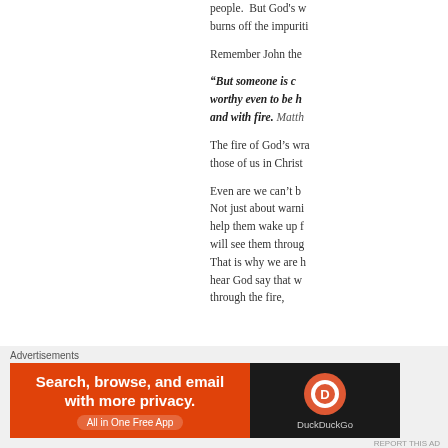people.  But God's w... burns off the impuriti...
Remember John the...
“But someone is c... worthy even to be h... and with fire. Matth...
The fire of God’s wra... those of us in Christ...
Even are we can’t b... Not just about warni... help them wake up f... will see them throug... That is why we are h... hear God say that w... through the fire,
Advertisements
[Figure (screenshot): DuckDuckGo advertisement banner: orange left side with text 'Search, browse, and email with more privacy. All in One Free App' and dark right side with DuckDuckGo logo and name.]